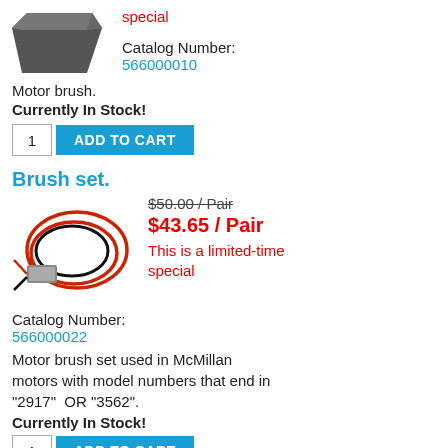[Figure (photo): Motor brush product photo - dark gray rectangular brush component]
special
Catalog Number:
566000010
Motor brush.
Currently In Stock!
1  ADD TO CART
Brush set.
[Figure (photo): Brush set product photo - motor brush set with red and black wires]
$50.00 / Pair
$43.65 / Pair
This is a limited-time special
Catalog Number:
566000022
Motor brush set used in McMillan motors with model numbers that end in "2917"  OR "3562".
Currently In Stock!
1  ADD TO CART